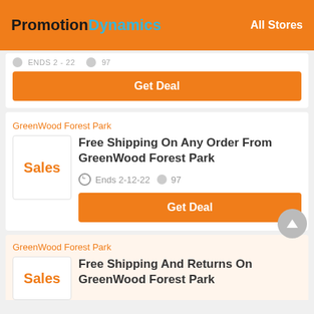PromotionDynamics | All Stores
Get Deal
GreenWood Forest Park
Free Shipping On Any Order From GreenWood Forest Park
Ends 2-12-22  97
Get Deal
GreenWood Forest Park
Free Shipping And Returns On GreenWood Forest Park